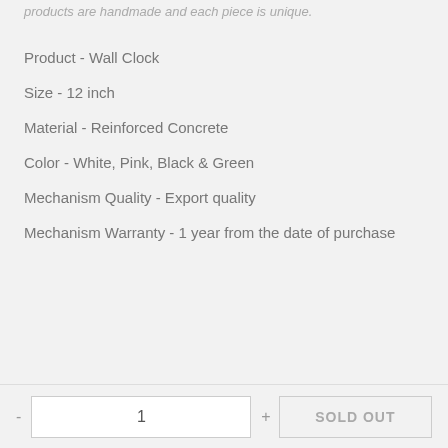products are handmade and each piece is unique.
Product - Wall Clock
Size - 12 inch
Material - Reinforced Concrete
Color - White, Pink, Black & Green
Mechanism Quality - Export quality
Mechanism Warranty - 1 year from the date of purchase